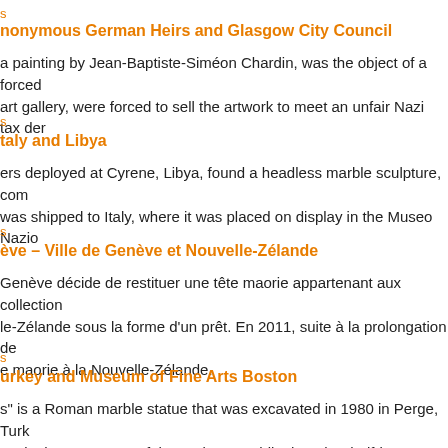s
nonymous German Heirs and Glasgow City Council
a painting by Jean-Baptiste-Siméon Chardin, was the object of a forced art gallery, were forced to sell the artwork to meet an unfair Nazi tax der
s
taly and Libya
ers deployed at Cyrene, Libya, found a headless marble sculpture, com was shipped to Italy, where it was placed on display in the Museo Nazio
s
ève – Ville de Genève et Nouvelle-Zélande
Genève décide de restituer une tête maorie appartenant aux collection le-Zélande sous la forme d'un prêt. En 2011, suite à la prolongation de e maorie à la Nouvelle-Zélande.
s
urkey and Museum of Fine Arts Boston
s" is a Roman marble statue that was excavated in 1980 in Perge, Turk est in the upper part of the sculpture, while the other half-interest was c